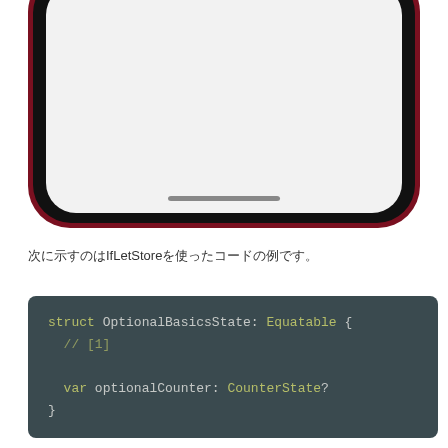[Figure (screenshot): Bottom portion of an iPhone (red/dark red color) showing a white screen with a home indicator bar at the bottom, on a white background.]
次に示すのはIfLetStoreを使ったコードの例です。
[Figure (screenshot): Code snippet on a dark teal/slate background showing Swift code: struct OptionalBasicsState: Equatable { // [1]  var optionalCounter: CounterState? }]